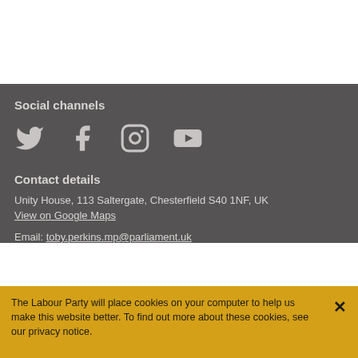Social channels
[Figure (other): Social media icons: Twitter, Facebook, Instagram, YouTube]
Contact details
Unity House, 113 Saltergate, Chesterfield S40 1NF, UK
View on Google Maps
Email: toby.perkins.mp@parliament.uk
The Labour Party will place cookies on your computer to help us make this website better. To find out more about these cookies, see our privacy notice.